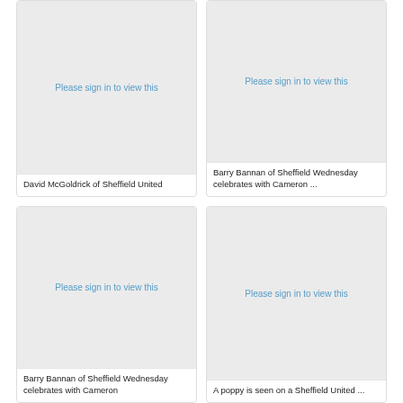[Figure (photo): Placeholder image with 'Please sign in to view this' text]
David McGoldrick of Sheffield United
[Figure (photo): Placeholder image with 'Please sign in to view this' text]
Barry Bannan of Sheffield Wednesday celebrates with Cameron ...
[Figure (photo): Placeholder image with 'Please sign in to view this' text]
Barry Bannan of Sheffield Wednesday celebrates with Cameron
[Figure (photo): Placeholder image with 'Please sign in to view this' text]
A poppy is seen on a Sheffield United ...